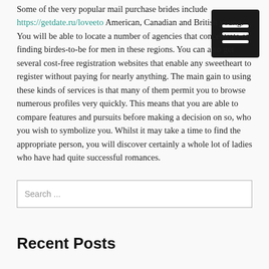Some of the very popular mail purchase brides include https://getdate.ru/loveeto American, Canadian and British young. You will be able to locate a number of agencies that concentrate on finding birdes-to-be for men in these regions. You can also get several cost-free registration websites that enable any sweetheart to register without paying for nearly anything. The main gain to using these kinds of services is that many of them permit you to browse numerous profiles very quickly. This means that you are able to compare features and pursuits before making a decision on so, who you wish to symbolize you. Whilst it may take a time to find the appropriate person, you will discover certainly a whole lot of ladies who have had quite successful romances.
Search ...
Recent Posts